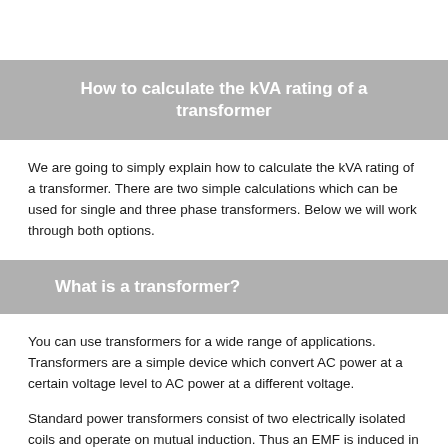How to calculate the kVA rating of a transformer
We are going to simply explain how to calculate the kVA rating of a transformer. There are two simple calculations which can be used for single and three phase transformers. Below we will work through both options.
What is a transformer?
You can use transformers for a wide range of applications. Transformers are a simple device which convert AC power at a certain voltage level to AC power at a different voltage.
Standard power transformers consist of two electrically isolated coils and operate on mutual induction. Thus an EMF is induced in the transformer secondary coil by the magnetic flux generated by the voltages and currents flowing in the primary coil winding.